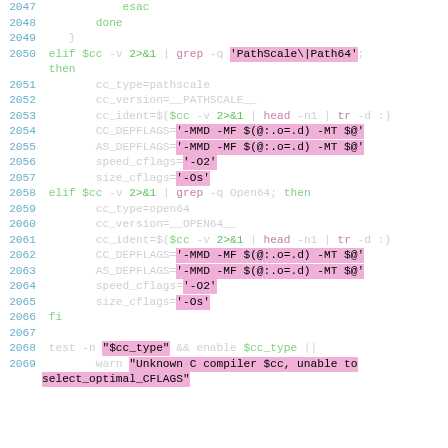[Figure (screenshot): Source code listing showing shell script lines 2047-2069 with syntax highlighting. Lines show esac/done/fi keywords, elif branches for PathScale and Open64 compiler detection, variable assignments for cc_type, cc_version, cc_ident, CC_DEPFLAGS, AS_DEPFLAGS, speed_cflags, size_cflags, and a test command at the end.]